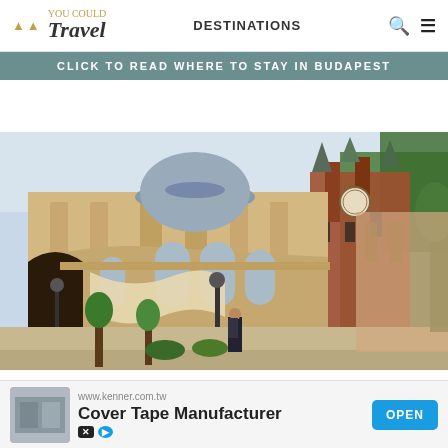You Could Travel — DESTINATIONS
CLICK TO READ WHERE TO STAY IN BUDAPEST
[Figure (photo): Photograph of a grand European palace or museum building (likely Vajdahunyad Castle or Museum of Fine Arts in Budapest), featuring ornate Baroque architecture with a large dome, stone columns, decorative facades, and Gothic tower in the background. A person is walking in the foreground plaza with trees visible on the right.]
www.kenner.com.tw Cover Tape Manufacturer OPEN